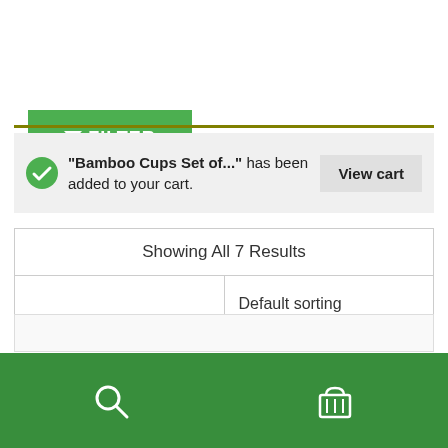[Figure (screenshot): Green FILTER button with funnel icon]
“Bamboo Cups Set of...” has been added to your cart.
[Figure (screenshot): View cart button]
Showing All 7 Results
Default sorting
[Figure (screenshot): Scroll to top circular green button with double upward chevron]
[Figure (screenshot): Bottom navigation bar with search and cart icons on green background]